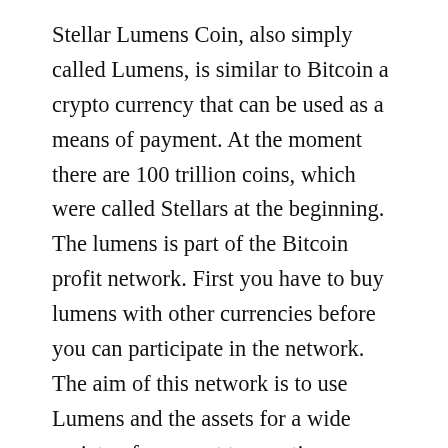Stellar Lumens Coin, also simply called Lumens, is similar to Bitcoin a crypto currency that can be used as a means of payment. At the moment there are 100 trillion coins, which were called Stellars at the beginning. The lumens is part of the Bitcoin profit network. First you have to buy lumens with other currencies before you can participate in the network. The aim of this network is to use Lumens and the assets for a wide variety of payment transactions worldwide. There should be no fees because the middleman, who is normally played by the banks of the currencies, is not available. Using this crypto currency, transactions across national borders should be quick and easy to carry out. The assets of the